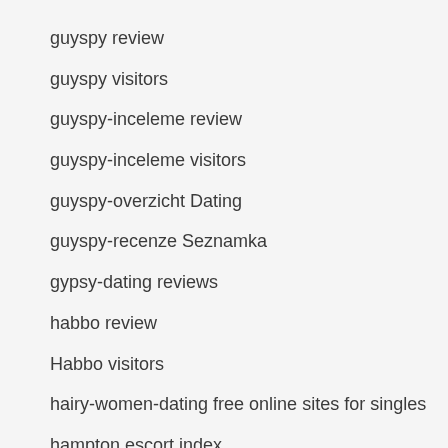guyspy review
guyspy visitors
guyspy-inceleme review
guyspy-inceleme visitors
guyspy-overzicht Dating
guyspy-recenze Seznamka
gypsy-dating reviews
habbo review
Habbo visitors
hairy-women-dating free online sites for singles
hampton escort index